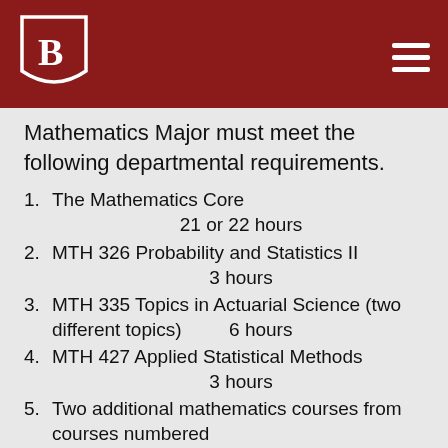[Figure (logo): Bradley University shield/crest logo in white on dark red header bar]
Mathematics Major must meet the following departmental requirements.
1. The Mathematics Core   21 or 22 hours
2. MTH 326 Probability and Statistics II   3 hours
3. MTH 335 Topics in Actuarial Science (two different topics)   6 hours
4. MTH 427 Applied Statistical Methods   3 hours
5. Two additional mathematics courses from courses numbered MTH 301 or above other than MTH 325, MTH 326, MTH 335,   and MTH 427